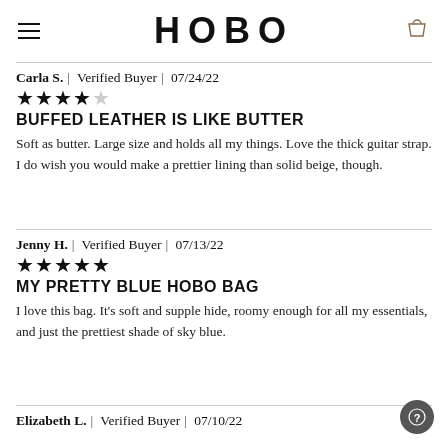HOBO
Carla S. | Verified Buyer | 07/24/22 ★★★★☆ BUFFED LEATHER IS LIKE BUTTER — Soft as butter. Large size and holds all my things. Love the thick guitar strap. I do wish you would make a prettier lining than solid beige, though.
Jenny H. | Verified Buyer | 07/13/22 ★★★★★ MY PRETTY BLUE HOBO BAG — I love this bag. It's soft and supple hide, roomy enough for all my essentials, and just the prettiest shade of sky blue.
Elizabeth L. | Verified Buyer | 07/10/22